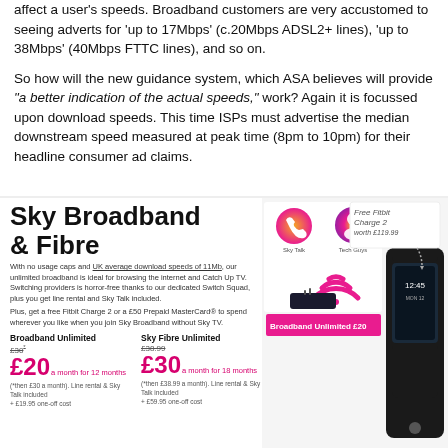affect a user's speeds. Broadband customers are very accustomed to seeing adverts for 'up to 17Mbps' (c.20Mbps ADSL2+ lines), 'up to 38Mbps' (40Mbps FTTC lines), and so on.
So how will the new guidance system, which ASA believes will provide "a better indication of the actual speeds," work? Again it is focussed upon download speeds. This time ISPs must advertise the median downstream speed measured at peak time (8pm to 10pm) for their headline consumer ad claims.
[Figure (photo): Sky Broadband & Fibre advertisement showing broadband and fibre deals with a Fitbit Charge 2 offer, product images including a router and Sky service icons, prices £20/month for Broadband Unlimited and £30/month for Sky Fibre Unlimited.]